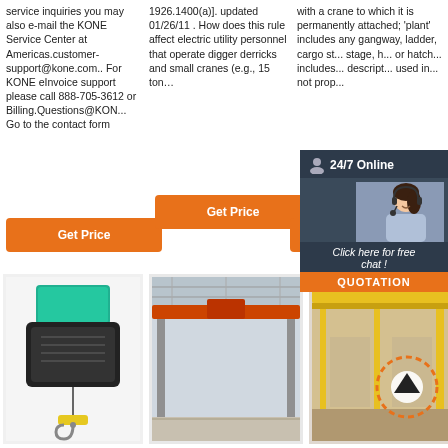service inquiries you may also e-mail the KONE Service Center at Americas.customer-support@kone.com.. For KONE eInvoice support please call 888-705-3612 or Billing.Questions@KON... Go to the contact form
1926.1400(a)]. updated 01/26/11 . How does this rule affect electric utility personnel that operate digger derricks and small cranes (e.g., 15 ton…
with a crane to which it is permanently attached; 'plant' includes any gangway, ladder, cargo st... stage, h... or hatch... includes... descript... used in... not prop...
[Figure (screenshot): Orange Get Price button in column 1]
[Figure (screenshot): Orange Get Price button in column 2]
[Figure (screenshot): Orange Get P... button in column 3]
[Figure (screenshot): 24/7 Online chat widget with customer service representative photo, showing 'Click here for free chat!' and QUOTATION button]
[Figure (photo): Industrial electric chain hoist with green motor housing and yellow hook]
[Figure (photo): Large industrial overhead crane in a warehouse/factory building]
[Figure (photo): Yellow overhead crane in industrial facility with orange dotted circle and up arrow overlay]